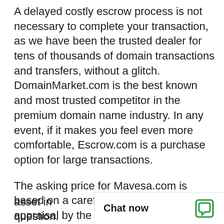A delayed costly escrow process is not necessary to complete your transaction, as we have been the trusted dealer for tens of thousands of domain transactions and transfers, without a glitch. DomainMarket.com is the best known and most trusted competitor in the premium domain name industry. In any event, if it makes you feel even more comfortable, Escrow.com is a purchase option for large transactions.
The asking price for Mavesa.com is based on a careful and professional appraisal by the world's leading experts on domain valuations, the inventors of ecommerce for premium domains. The price is explicitly certified to be fair by real experts, so the buyer can be confident in the great long-term value and investment oppo[rtunity] asset in question.
Chat now